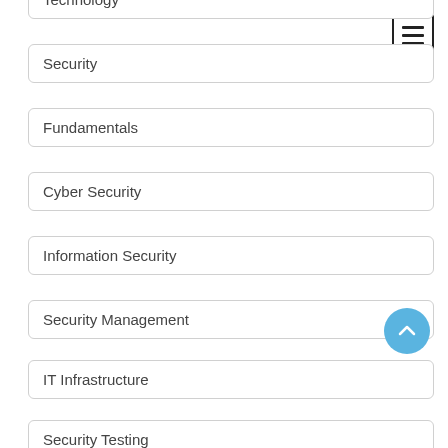Technology
Security
Fundamentals
Cyber Security
Information Security
Security Management
IT Infrastructure
Security Testing